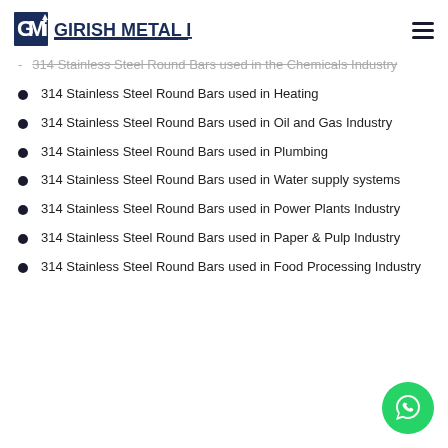GMI GIRISH METAL INDIA
314 Stainless Steel Round Bars used in the Chemicals Industry
314 Stainless Steel Round Bars used in Heating
314 Stainless Steel Round Bars used in Oil and Gas Industry
314 Stainless Steel Round Bars used in Plumbing
314 Stainless Steel Round Bars used in Water supply systems
314 Stainless Steel Round Bars used in Power Plants Industry
314 Stainless Steel Round Bars used in Paper & Pulp Industry
314 Stainless Steel Round Bars used in Food Processing Industry